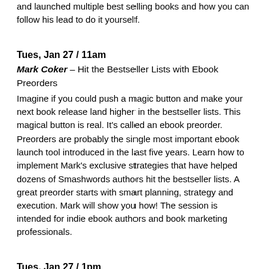and launched multiple best selling books and how you can follow his lead to do it yourself.
Tues, Jan 27 / 11am
Mark Coker – Hit the Bestseller Lists with Ebook Preorders
Imagine if you could push a magic button and make your next book release land higher in the bestseller lists. This magical button is real. It's called an ebook preorder. Preorders are probably the single most important ebook launch tool introduced in the last five years. Learn how to implement Mark's exclusive strategies that have helped dozens of Smashwords authors hit the bestseller lists. A great preorder starts with smart planning, strategy and execution. Mark will show you how! The session is intended for indie ebook authors and book marketing professionals.
Tues, Jan 27 / 1pm
Bryan Cohen – How to Run a Multi-Author Facebook Event
Banding together with other authors is one of the best ways to build buzz about your book. Creating a multi-author Facebook event is an inexpensive way to bring fans to a single place to celebrate their love for books. Bryan has run six multi-author events with over 2,000